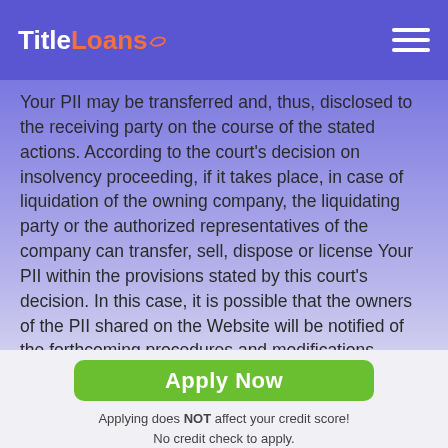TitleLoans
Your PII may be transferred and, thus, disclosed to the receiving party on the course of the stated actions. According to the court's decision on insolvency proceeding, if it takes place, in case of liquidation of the owning company, the liquidating party or the authorized representatives of the company can transfer, sell, dispose or license Your PII within the provisions stated by this court's decision. In this case, it is possible that the owners of the PII shared on the Website will be notified of the forthcoming procedures and modifications upfront or the notification will be published openly on the Website. It is
Apply Now
Applying does NOT affect your credit score!
No credit check to apply.